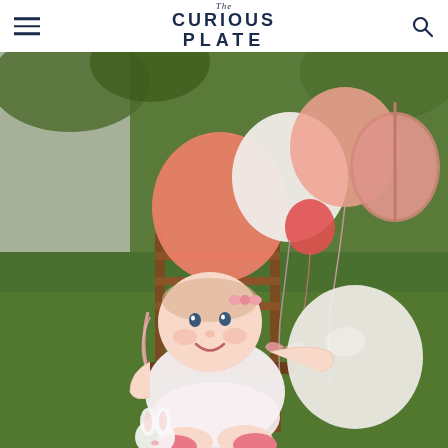The Curious Plate
[Figure (photo): A smiling baby girl in a white outfit and pink bow sits on a wooden chair on green grass, holding white balloons, with a bunch of pink, coral, and rose gold balloons tied to the chair behind her.]